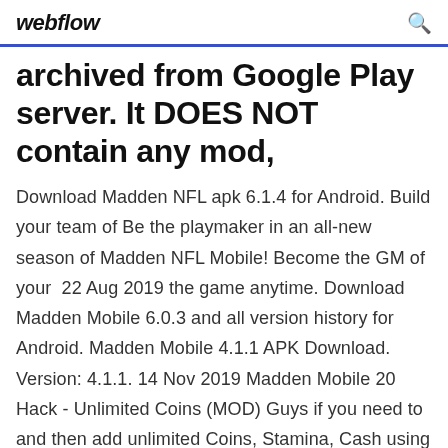webflow
archived from Google Play server. It DOES NOT contain any mod,
Download Madden NFL apk 6.1.4 for Android. Build your team of Be the playmaker in an all-new season of Madden NFL Mobile! Become the GM of your  22 Aug 2019 the game anytime. Download Madden Mobile 6.0.3 and all version history for Android. Madden Mobile 4.1.1 APK Download. Version: 4.1.1. 14 Nov 2019 Madden Mobile 20 Hack - Unlimited Coins (MOD) Guys if you need to and then add unlimited Coins, Stamina, Cash using an APK MOD. MADDEN NFL MOBILE IS BACK AND BETTER THAN EVER,